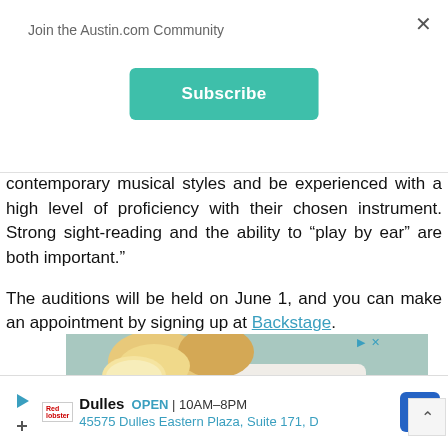Join the Austin.com Community
Subscribe
contemporary musical styles and be experienced with a high level of proficiency with their chosen instrument. Strong sight-reading and the ability to “play by ear” are both important.”
The auditions will be held on June 1, and you can make an appointment by signing up at Backstage.
[Figure (photo): Advertisement photo showing fried chicken and bread rolls on a white plate with a teal/blue background]
Dulles OPEN | 10AM–8PM 45575 Dulles Eastern Plaza, Suite 171, D